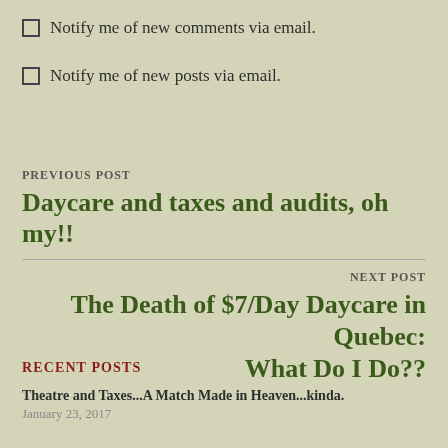☐ Notify me of new comments via email.
☐ Notify me of new posts via email.
PREVIOUS POST
Daycare and taxes and audits, oh my!!
NEXT POST
The Death of $7/Day Daycare in Quebec: What Do I Do??
RECENT POSTS
Theatre and Taxes...A Match Made in Heaven...kinda.
January 23, 2017